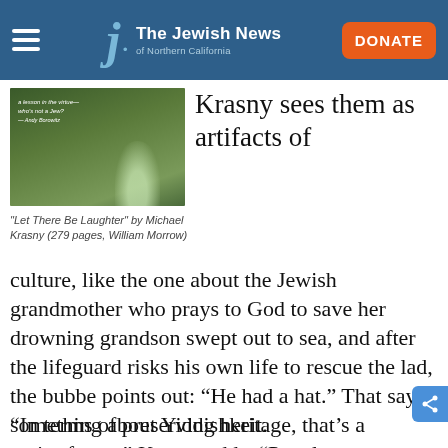The Jewish News of Northern California
[Figure (photo): Book cover of 'Let There Be Laughter' by Michael Krasny, showing a figure in green grass with a quote by Andy Borowitz]
Krasny sees them as artifacts of
"Let There Be Laughter" by Michael Krasny (279 pages, William Morrow)
culture, like the one about the Jewish grandmother who prays to God to save her drowning grandson swept out to sea, and after the lifeguard risks his own life to rescue the lad, the bubbe points out: “He had a hat.” That says something about Yiddishkeit.
“In terms of preserving heritage, that’s a major factor,” Krasny adds. “People come up to me and